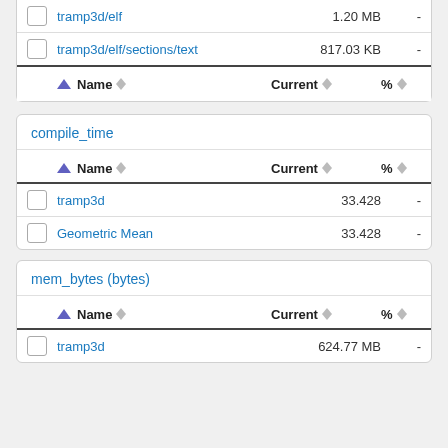|  |  | Name | Current | % |
| --- | --- | --- | --- | --- |
|  |  | tramp3d/elf | 1.20 MB | - |
|  |  | tramp3d/elf/sections/text | 817.03 KB | - |
|  |  | Name | Current | % |
| --- | --- | --- | --- | --- |
compile_time
|  |  | Name | Current | % |
| --- | --- | --- | --- | --- |
|  |  | tramp3d | 33.428 | - |
|  |  | Geometric Mean | 33.428 | - |
mem_bytes (bytes)
|  |  | Name | Current | % |
| --- | --- | --- | --- | --- |
|  |  | tramp3d | 624.77 MB | - |